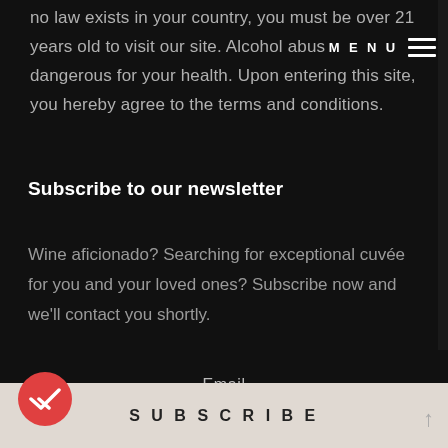no law exists in your country, you must be over 21 years old to visit our site. Alcohol abus dangerous for your health. Upon entering this site, you hereby agree to the terms and conditions.
Subscribe to our newsletter
Wine aficionado? Searching for exceptional cuvée for you and your loved ones? Subscribe now and we'll contact you shortly.
Email
SUBSCRIBE